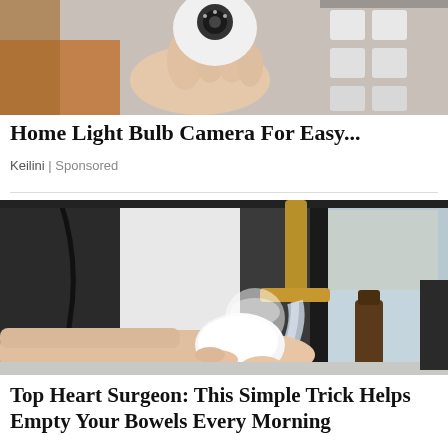[Figure (photo): Hand holding a white light bulb camera device, with orange tool and white electrical components in background]
Home Light Bulb Camera For Easy...
Keilini | Sponsored
[Figure (photo): Hands holding a white rounded object under running water from a gold/bronze kitchen faucet, sink area with dark background]
Top Heart Surgeon: This Simple Trick Helps Empty Your Bowels Every Morning